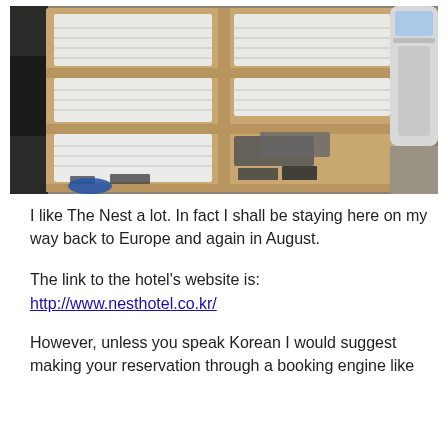[Figure (photo): Wooden shelving unit with neatly folded white towels and linens stacked on multiple shelves, with dark items on the bottom shelf. A white appliance is visible to the right.]
I like The Nest a lot. In fact I shall be staying here on my way back to Europe and again in August.
The link to the hotel's website is:
http://www.nesthotel.co.kr/
However, unless you speak Korean I would suggest making your reservation through a booking engine like